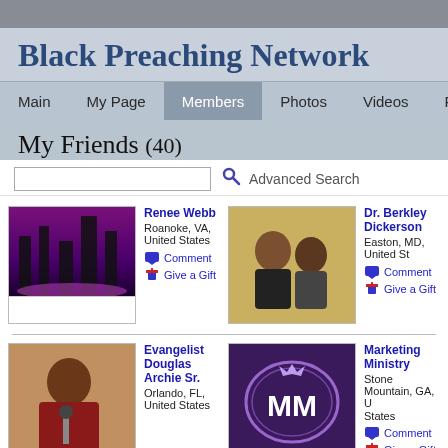Black Preaching Network
Main  My Page  Members  Photos  Videos  Forum  Gro...
My Friends (40)
Advanced Search
Renee Webb
Roanoke, VA, United States
Comment
Give a Gift
Dr. Berkley Dickerson
Easton, MD, United St...
Comment
Give a Gift
Evangelist Douglas Archie Sr.
Orlando, FL, United States
Marketing Ministry
Stone Mountain, GA, U...
States
Comment
Give a Gift